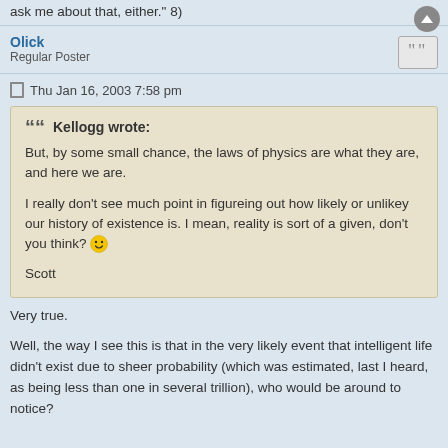ask me about that, either." 8)
Olick
Regular Poster
Thu Jan 16, 2003 7:58 pm
Kellogg wrote:
But, by some small chance, the laws of physics are what they are, and here we are.

I really don't see much point in figureing out how likely or unlikey our history of existence is. I mean, reality is sort of a given, don't you think? :)

Scott
Very true.

Well, the way I see this is that in the very likely event that intelligent life didn't exist due to sheer probability (which was estimated, last I heard, as being less than one in several trillion), who would be around to notice?